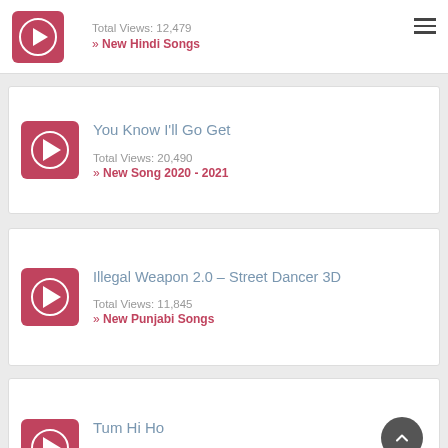Total Views: 12,479
» New Hindi Songs
You Know I'll Go Get
Total Views: 20,490
» New Song 2020 - 2021
Illegal Weapon 2.0 – Street Dancer 3D
Total Views: 11,845
» New Punjabi Songs
Tum Hi Ho
Total Views: 16,988
» Arijit Singh New Song